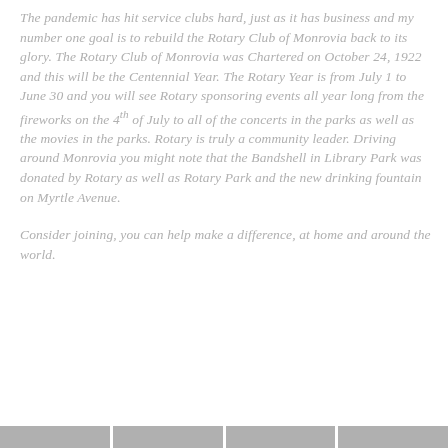The pandemic has hit service clubs hard, just as it has business and my number one goal is to rebuild the Rotary Club of Monrovia back to its glory. The Rotary Club of Monrovia was Chartered on October 24, 1922 and this will be the Centennial Year. The Rotary Year is from July 1 to June 30 and you will see Rotary sponsoring events all year long from the fireworks on the 4th of July to all of the concerts in the parks as well as the movies in the parks. Rotary is truly a community leader. Driving around Monrovia you might note that the Bandshell in Library Park was donated by Rotary as well as Rotary Park and the new drinking fountain on Myrtle Avenue.
Consider joining, you can help make a difference, at home and around the world.